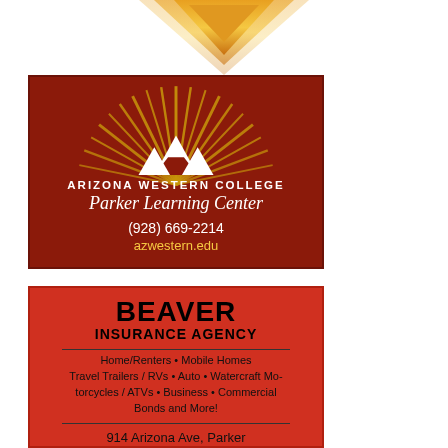[Figure (logo): Partial diamond/chevron shaped logo in gold/orange colors, cut off at top of page]
[Figure (illustration): Arizona Western College Parker Learning Center advertisement. Dark red/maroon background with gold sunburst rays and white mountain/AWC logo. Text: ARIZONA WESTERN COLLEGE, Parker Learning Center, (928) 669-2214, azwestern.edu]
[Figure (illustration): Beaver Insurance Agency advertisement. Red background. Text: BEAVER INSURANCE AGENCY, Home/Renters, Mobile Homes, Travel Trailers/RVs, Auto, Watercraft Motorcycles/ATVs, Business, Commercial Bonds and More!, 914 Arizona Ave, Parker, 928 669 2255 (partial)]